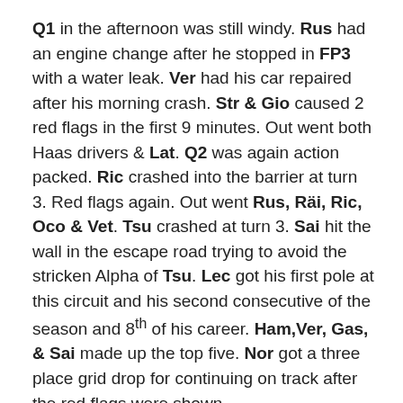Q1 in the afternoon was still windy. Rus had an engine change after he stopped in FP3 with a water leak. Ver had his car repaired after his morning crash. Str & Gio caused 2 red flags in the first 9 minutes. Out went both Haas drivers & Lat. Q2 was again action packed. Ric crashed into the barrier at turn 3. Red flags again. Out went Rus, Räi, Ric, Oco & Vet. Tsu crashed at turn 3. Sai hit the wall in the escape road trying to avoid the stricken Alpha of Tsu. Lec got his first pole at this circuit and his second consecutive of the season and 8th of his career. Ham,Ver, Gas, & Sai made up the top five. Nor got a three place grid drop for continuing on track after the red flags were shown.